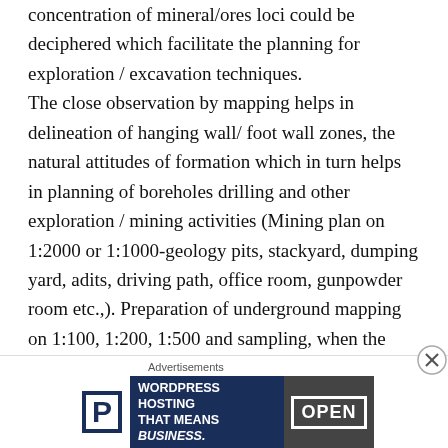concentration of mineral/ores loci could be deciphered which facilitate the planning for exploration / excavation techniques. The close observation by mapping helps in delineation of hanging wall/ foot wall zones, the natural attitudes of formation which in turn helps in planning of boreholes drilling and other exploration / mining activities (Mining plan on 1:2000 or 1:1000-geology pits, stackyard, dumping yard, adits, driving path, office room, gunpowder room etc.,). Preparation of underground mapping on 1:100, 1:200, 1:500 and sampling, when the excavation is in progress, will help to locate the exact disposition of the ore lode. So the
[Figure (screenshot): Advertisement banner for WordPress Hosting with Pressable logo (P icon), text 'WORDPRESS HOSTING THAT MEANS BUSINESS.' and an OPEN sign photo on dark blue background.]